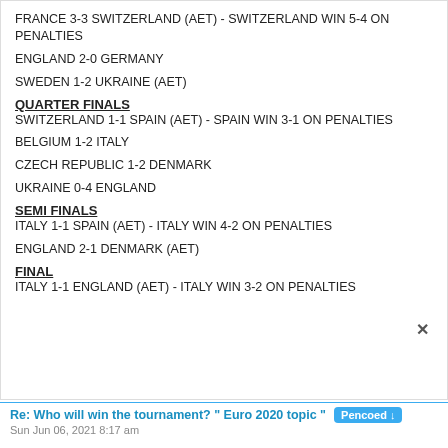FRANCE 3-3 SWITZERLAND (AET) - SWITZERLAND WIN 5-4 ON PENALTIES
ENGLAND 2-0 GERMANY
SWEDEN 1-2 UKRAINE (AET)
QUARTER FINALS
SWITZERLAND 1-1 SPAIN (AET) - SPAIN WIN 3-1 ON PENALTIES
BELGIUM 1-2 ITALY
CZECH REPUBLIC 1-2 DENMARK
UKRAINE 0-4 ENGLAND
SEMI FINALS
ITALY 1-1 SPAIN (AET) - ITALY WIN 4-2 ON PENALTIES
ENGLAND 2-1 DENMARK (AET)
FINAL
ITALY 1-1 ENGLAND (AET) - ITALY WIN 3-2 ON PENALTIES
Re: Who will win the tournament? " Euro 2020 topic "  Pencoed ↓
Sun Jun 06, 2021 8:17 am